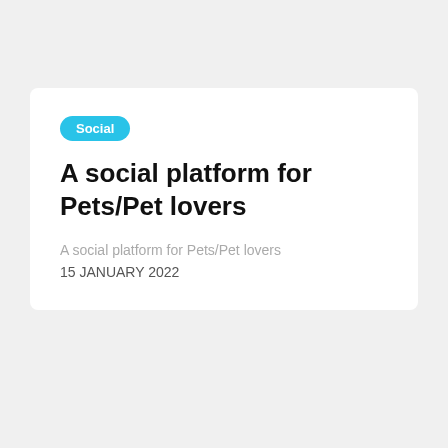Social
A social platform for Pets/Pet lovers
A social platform for Pets/Pet lovers
15 JANUARY 2022